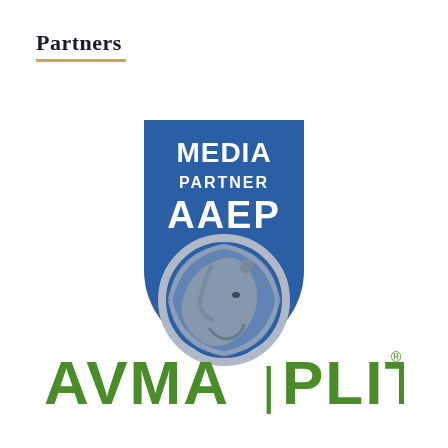Partners
[Figure (logo): AAEP Media Partner logo: blue shield/badge shape with text 'MEDIA PARTNER AAEP' in white, and a silver circular horse head silhouette below]
[Figure (logo): AVMA | PLIT logo in green text]